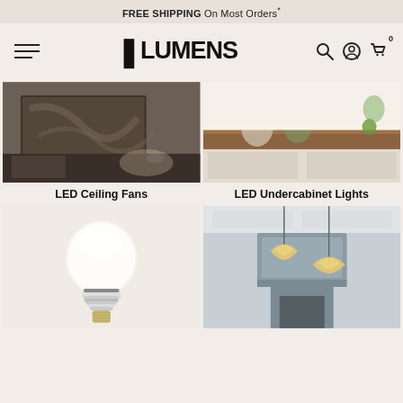FREE SHIPPING On Most Orders*
[Figure (logo): Lumens lighting brand logo with hamburger menu, search, account, and cart icons]
[Figure (photo): LED Ceiling Fan product image showing a living room with wall art and ceiling fan]
LED Ceiling Fans
[Figure (photo): LED Undercabinet Lights product image showing kitchen counter with jars and undercabinet lighting]
LED Undercabinet Lights
[Figure (photo): LED light bulb product image on light background]
[Figure (photo): Decorative pendant lights in a kitchen with gray cabinetry]